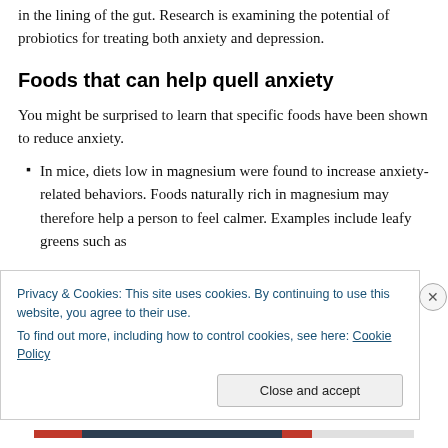in the lining of the gut. Research is examining the potential of probiotics for treating both anxiety and depression.
Foods that can help quell anxiety
You might be surprised to learn that specific foods have been shown to reduce anxiety.
In mice, diets low in magnesium were found to increase anxiety-related behaviors. Foods naturally rich in magnesium may therefore help a person to feel calmer. Examples include leafy greens such as
Privacy & Cookies: This site uses cookies. By continuing to use this website, you agree to their use. To find out more, including how to control cookies, see here: Cookie Policy
Close and accept